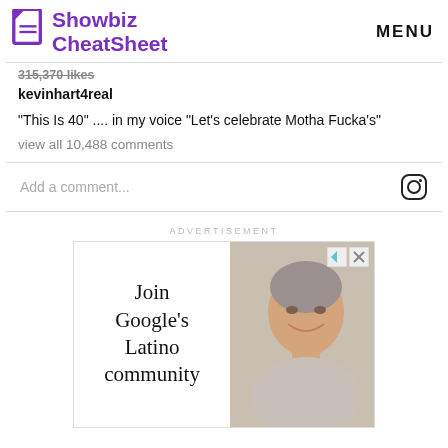[Figure (logo): Showbiz CheatSheet logo with purple document icon and purple text]
MENU
315,370 likes
kevinhart4real
“This Is 40” .... in my voice “Let’s celebrate Motha Fucka’s”
view all 10,488 comments
Add a comment...
ADVERTISEMENT
[Figure (screenshot): Advertisement showing 'Join Google's Latino community' text on left with photo of smiling middle-aged man on right]